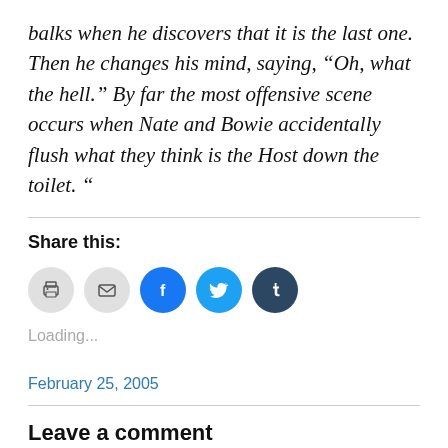balks when he discovers that it is the last one. Then he changes his mind, saying, “Oh, what the hell.” By far the most offensive scene occurs when Nate and Bowie accidentally flush what they think is the Host down the toilet. “
Share this:
[Figure (infographic): Row of five circular social share buttons: print (gray), email (gray), Facebook (blue), Twitter (light blue), Tumblr (dark navy)]
Loading...
February 25, 2005
Leave a comment